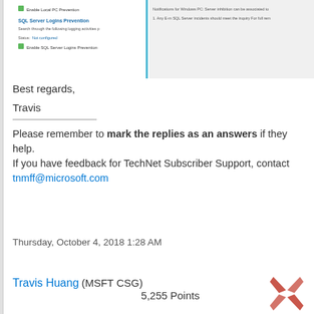[Figure (screenshot): Screenshot of SQL Server Logins Prevention dialog with checkboxes and status fields]
Best regards,
Travis
Please remember to mark the replies as an answers if they help.
If you have feedback for TechNet Subscriber Support, contact tnmff@microsoft.com
Thursday, October 4, 2018 1:28 AM
Travis Huang (MSFT CSG)
5,255 Points